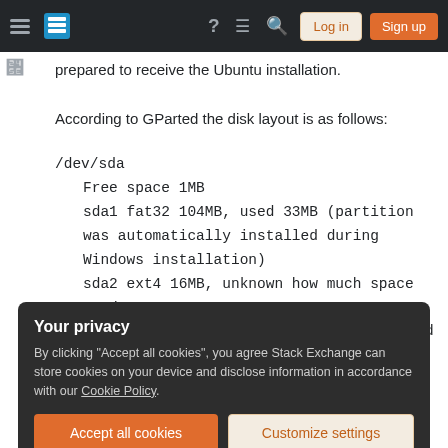Stack Exchange navigation bar with hamburger menu, logo, help, chat, search icons, Log in and Sign up buttons
prepared to receive the Ubuntu installation.
According to GParted the disk layout is as follows:
/dev/sda
    Free space 1MB
    sda1 fat32 104MB, used 33MB (partition was automatically installed during Windows installation)
    sda2 ext4 16MB, unknown how much space used.
        (partition was automatically installed during Windows installation)
Your privacy
By clicking "Accept all cookies", you agree Stack Exchange can store cookies on your device and disclose information in accordance with our Cookie Policy.
Accept all cookies   Customize settings
Free space 1MB